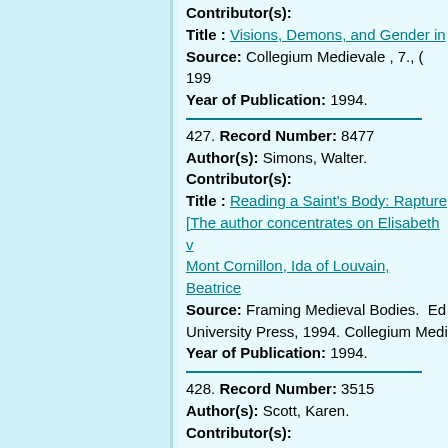Contributor(s):
Title : Visions, Demons, and Gender in
Source: Collegium Medievale , 7., ( 199
Year of Publication: 1994.
427. Record Number: 8477
Author(s): Simons, Walter.
Contributor(s):
Title : Reading a Saint's Body: Rapture [The author concentrates on Elisabeth v Mont Cornillon, Ida of Louvain, Beatrice
Source: Framing Medieval Bodies. Ed University Press, 1994. Collegium Medi
Year of Publication: 1994.
428. Record Number: 3515
Author(s): Scott, Karen.
Contributor(s):
Title : Urban Spaces, Women's Network
Source: Creative Women in Medieval a Renaissance. Edited by E. Ann Matter Press, 1994. Collegium Medievale , 7.,
Year of Publication: 1994.
429. Record Number: 3559
Author(s):
Contributor(s):